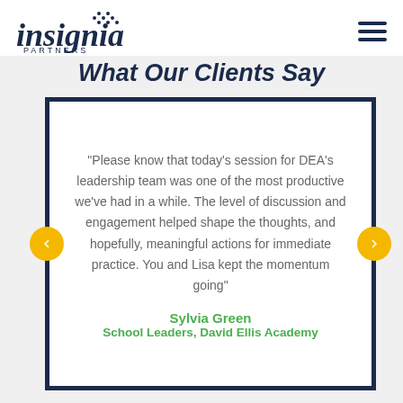insignia PARTNERS
What Our Clients Say
"Please know that today's session for DEA's leadership team was one of the most productive we've had in a while. The level of discussion and engagement helped shape the thoughts, and hopefully, meaningful actions for immediate practice. You and Lisa kept the momentum going"
Sylvia Green
School Leaders, David Ellis Academy